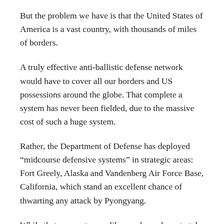But the problem we have is that the United States of America is a vast country, with thousands of miles of borders.
A truly effective anti-ballistic defense network would have to cover all our borders and US possessions around the globe. That complete a system has never been fielded, due to the massive cost of such a huge system.
Rather, the Department of Defense has deployed “midcourse defensive systems” in strategic areas: Fort Greely, Alaska and Vandenberg Air Force Base, California, which stand an excellent chance of thwarting any attack by Pyongyang.
While that may not seem like much, we have to take into consideration the altitude that ballistic missiles fly. Missiles from either Alaska or California have the capability of